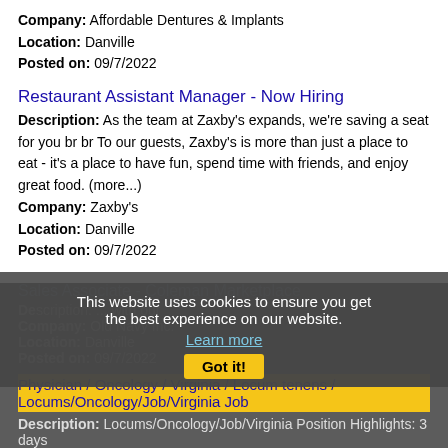Company: Affordable Dentures & Implants
Location: Danville
Posted on: 09/7/2022
Restaurant Assistant Manager - Now Hiring
Description: As the team at Zaxby's expands, we're saving a seat for you br br To our guests, Zaxby's is more than just a place to eat - it's a place to have fun, spend time with friends, and enjoy great food. (more...)
Company: Zaxby's
Location: Danville
Posted on: 09/7/2022
Sales Associate - Coleman Marketplace
Description: ... with our
Company: Old Navy Inc.
Location: Danville
Posted on: 09/7/2022
This website uses cookies to ensure you get the best experience on our website.
Learn more
Got it!
Physician / Oncology / Virginia / Locum tenens / Locums/Oncology/Job/Virginia Job
Description: Locums/Oncology/Job/Virginia Position Highlights: 3 days
Company: Hayman Daugherty Associates, Inc